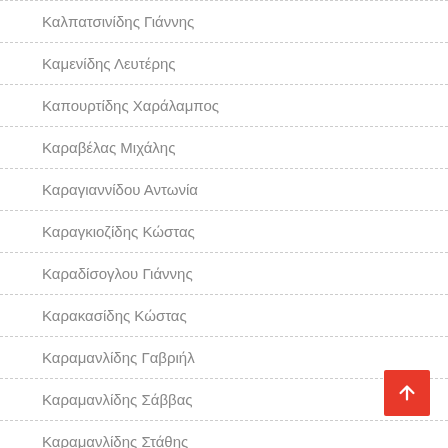Καλπατσινίδης Γιάννης
Καμενίδης Λευτέρης
Καπουρτίδης Χαράλαμπος
Καραβέλας Μιχάλης
Καραγιαννίδου Αντωνία
Καραγκιοζίδης Κώστας
Καραδίσογλου Γιάννης
Καρακασίδης Κώστας
Καραμανλίδης Γαβριήλ
Καραμανλίδης Σάββας
Καραμανλίδης Στάθης
Καραπαναγιωτίδης Κώστας